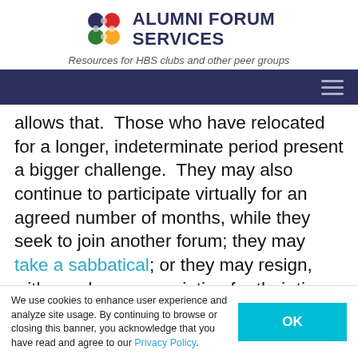[Figure (logo): Alumni Forum Services logo with four colored circles and bold text]
Resources for HBS clubs and other peer groups
allows that.  Those who have relocated for a longer, indeterminate period present a bigger challenge.  They may also continue to participate virtually for an agreed number of months, while they seek to join another forum; they may take a sabbatical; or they may resign, with our deep appreciation for their time in the forum.
We use cookies to enhance user experience and analyze site usage. By continuing to browse or closing this banner, you acknowledge that you have read and agree to our Privacy Policy.